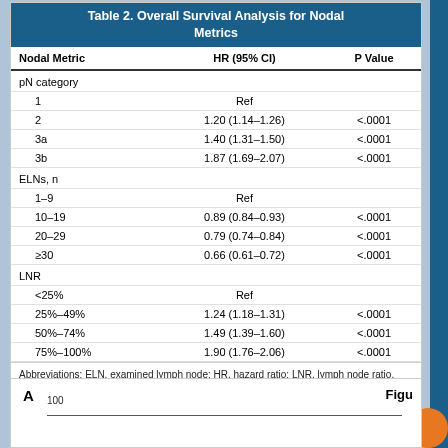| Nodal Metric | HR (95% CI) | P Value |
| --- | --- | --- |
| pN category |  |  |
| 1 | Ref |  |
| 2 | 1.20 (1.14–1.26) | <.0001 |
| 3a | 1.40 (1.31–1.50) | <.0001 |
| 3b | 1.87 (1.69–2.07) | <.0001 |
| ELNs, n |  |  |
| 1–9 | Ref |  |
| 10–19 | 0.89 (0.84–0.93) | <.0001 |
| 20–29 | 0.79 (0.74–0.84) | <.0001 |
| ≥30 | 0.66 (0.61–0.72) | <.0001 |
| LNR |  |  |
| <25% | Ref |  |
| 25%–49% | 1.24 (1.18–1.31) | <.0001 |
| 50%–74% | 1.49 (1.39–1.60) | <.0001 |
| 75%–100% | 1.90 (1.76–2.06) | <.0001 |
Abbreviations: ELN, examined lymph node; HR, hazard ratio; LNR, lymph node ratio.
VIEW TABLE
[Figure (other): Partial figure panel A showing start of a survival curve chart with y-axis label 100 visible, cut off at bottom of page. Caption reads 'Figu' (truncated).]